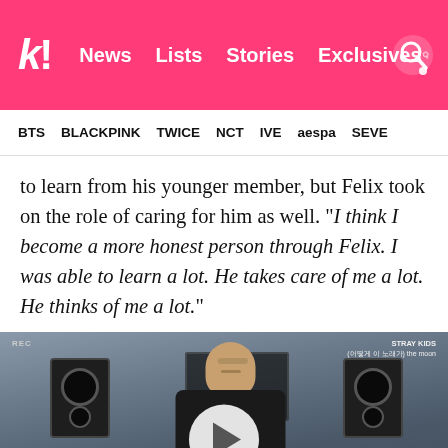k! News  Lists  Stories  Exclusives
BTS  BLACKPINK  TWICE  NCT  IVE  aespa  SEVE
to learn from his younger member, but Felix took on the role of caring for him as well. “I think I become a more honest person through Felix. I was able to learn a lot. He takes care of me a lot. He thinks of me a lot.”
[Figure (screenshot): Video thumbnail showing a person in a music studio with speakers and mixing equipment, with a play button overlay. Subtitle reads: I think I become a more honest person. Labels show REC and STRAY KIDS.]